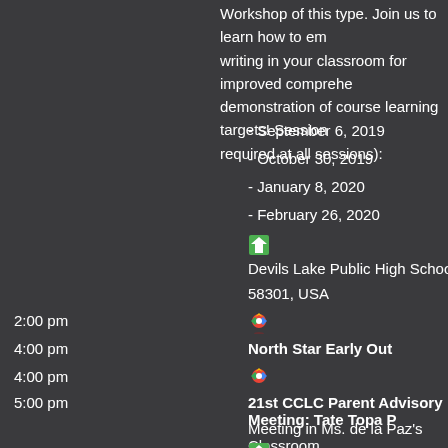Workshop of this type. Join us to learn how to embed writing in your classroom for improved comprehension and demonstration of course learning targets! Sessions (attendance required at all sessions):
- September 6, 2019
- October 30, 2019
- January 8, 2020
- February 26, 2020
Devils Lake Public High School, 1601 College Dr N, 58301, USA
2:00 pm
4:00 pm  North Star Early Out
4:00 pm
5:00 pm  21st CCLC Parent Advisory Meeting: Tate Topa P
Meeting in Ms. de la Paz's Classroom
Four Winds Middle School, ND-57, Fort Totten, N